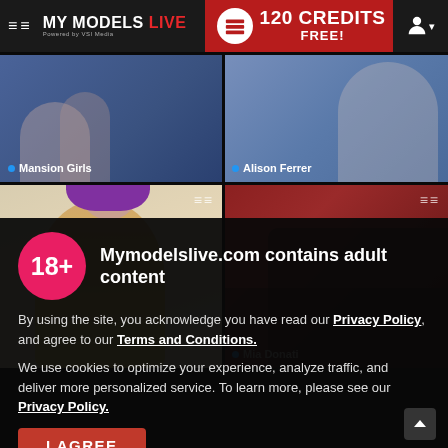MY MODELS LIVE — 120 CREDITS FREE!
[Figure (screenshot): Thumbnail of Mansion Girls live stream]
[Figure (screenshot): Thumbnail of Alison Ferrer live stream]
[Figure (screenshot): Thumbnail of a model in yellow dress with purple hair]
[Figure (screenshot): Thumbnail of Mia Donati live stream]
Mymodelslive.com contains adult content
By using the site, you acknowledge you have read our Privacy Policy, and agree to our Terms and Conditions.
We use cookies to optimize your experience, analyze traffic, and deliver more personalized service. To learn more, please see our Privacy Policy.
I AGREE